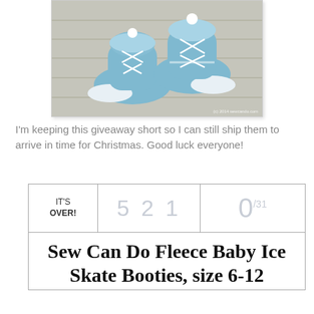[Figure (photo): Photo of blue fleece baby ice skate booties on a wooden background, with white laces. Watermark: (c) 2014 sewcando.com]
I'm keeping this giveaway short so I can still ship them to arrive in time for Christmas.  Good luck everyone!
| IT'S OVER! | 5 2 1 | 0/31 |
| --- | --- | --- |
| Sew Can Do Fleece Baby Ice Skate Booties, size 6-12 |  |  |